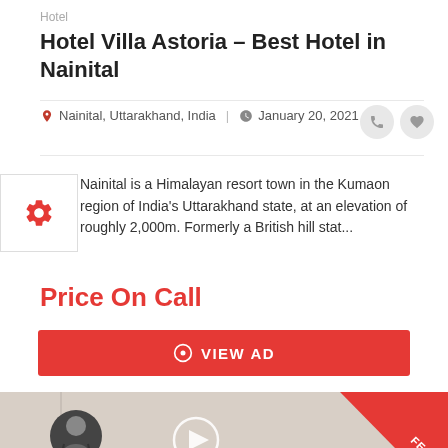Hotel
Hotel Villa Astoria – Best Hotel in Nainital
Nainital, Uttarakhand, India   January 20, 2021
Nainital is a Himalayan resort town in the Kumaon region of India's Uttarakhand state, at an elevation of roughly 2,000m. Formerly a British hill stat...
Price On Call
VIEW AD
[Figure (photo): Hotel room interior showing a bathroom/bedroom wall with a framed picture, a door with handle, and an air conditioning unit. A 'FEATURED' ribbon is shown in the top right corner. A silhouette avatar icon and a play button circle are overlaid in the top left.]